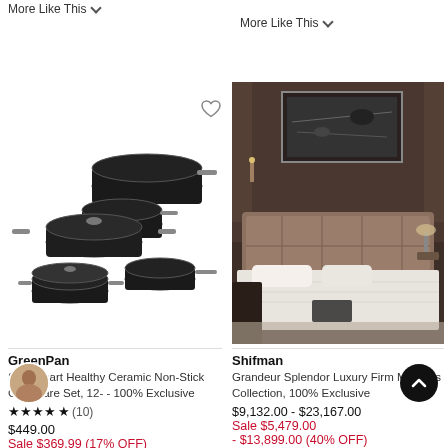More Like This ∨
More Like This ∨
[Figure (photo): Set of GreenPan black non-stick cookware pots and pans with metallic handles on white background]
[Figure (photo): Shifman luxury mattress on bed frame in an elegant darkly lit bedroom with artwork on the wall]
GreenPan
SeerSmart Healthy Ceramic Non-Stick Cookware Set, 12- - 100% Exclusive
★★★★★ (10)
$449.00
Sale $369.99 (17% OFF)
Shifman
Grandeur Splendor Luxury Firm Mattress Collection, 100% Exclusive
$9,132.00 - $23,167.00
Sale $5,479.00
- $13,899.00 (40% OFF)